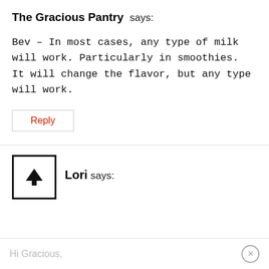The Gracious Pantry says:
Bev – In most cases, any type of milk will work. Particularly in smoothies. It will change the flavor, but any type will work.
Reply
[Figure (illustration): Avatar box with upward arrow icon inside a black border square]
Lori says:
Hi Gracious,